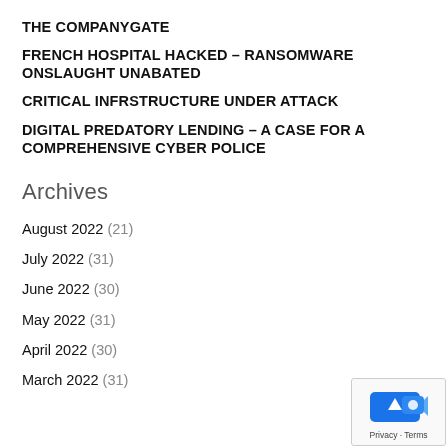THE COMPANYGATE
FRENCH HOSPITAL HACKED – RANSOMWARE ONSLAUGHT UNABATED
CRITICAL INFRSTRUCTURE UNDER ATTACK
DIGITAL PREDATORY LENDING – A CASE FOR A COMPREHENSIVE CYBER POLICE
Archives
August 2022 (21)
July 2022 (31)
June 2022 (30)
May 2022 (31)
April 2022 (30)
March 2022 (31)